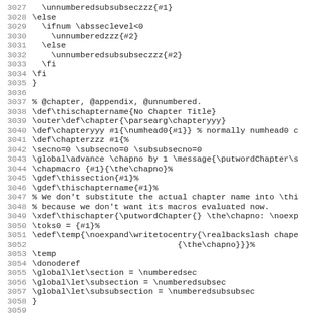Source code listing lines 3027-3059, TeX/LaTeX macro definitions